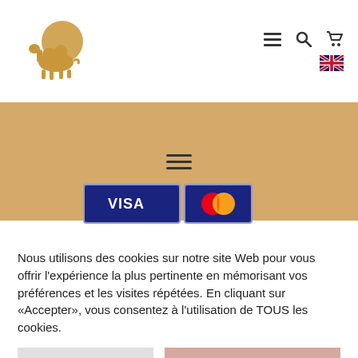[Figure (logo): Camel-idée logo with camel and sun graphic above text 'Camel-idée lait de chamelle']
[Figure (infographic): Navigation header icons: hamburger menu, search magnifier, shopping cart, and UK flag language selector]
[Figure (infographic): Sandy/tan colored banner with hamburger menu icon and partially visible Visa and Mastercard payment icons]
Nous utilisons des cookies sur notre site Web pour vous offrir l'expérience la plus pertinente en mémorisant vos préférences et les visites répétées. En cliquant sur «Accepter», vous consentez à l'utilisation de TOUS les cookies.
REJETER
TOUT ACCEPTER